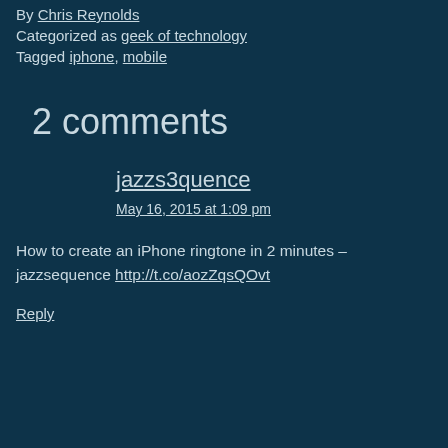By Chris Reynolds
Categorized as geek of technology
Tagged iphone, mobile
2 comments
jazzs3quence
May 16, 2015 at 1:09 pm
How to create an iPhone ringtone in 2 minutes – jazzsequence http://t.co/aozZqsQOvt
Reply